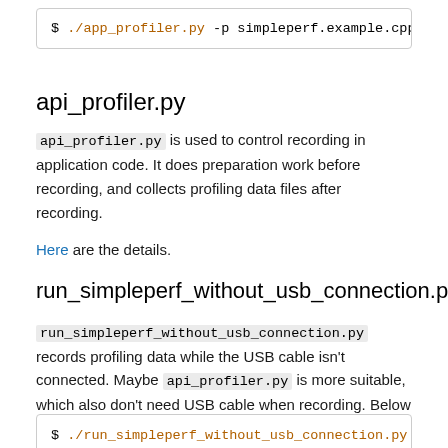$ ./app_profiler.py -p simpleperf.example.cpp -a
api_profiler.py
api_profiler.py is used to control recording in application code. It does preparation work before recording, and collects profiling data files after recording.
Here are the details.
run_simpleperf_without_usb_connection.py
run_simpleperf_without_usb_connection.py records profiling data while the USB cable isn't connected. Maybe api_profiler.py is more suitable, which also don't need USB cable when recording. Below is an example.
$ ./run_simpleperf_without_usb_connection.py star
# After the command finishes successfully, unplugg
# SimpleperfExampleCpp app. After a few seconds, p
$ ./run_simpleperf_without_usb_connection.py stop